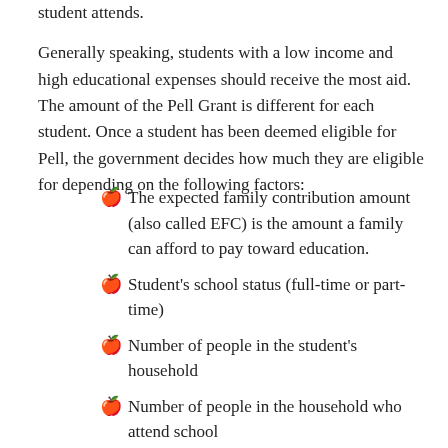student attends.
Generally speaking, students with a low income and high educational expenses should receive the most aid. The amount of the Pell Grant is different for each student. Once a student has been deemed eligible for Pell, the government decides how much they are eligible for depending on the following factors:
The expected family contribution amount (also called EFC) is the amount a family can afford to pay toward education.
Student's school status (full-time or part-time)
Number of people in the student's household
Number of people in the household who attend school
Student's income, if they are an